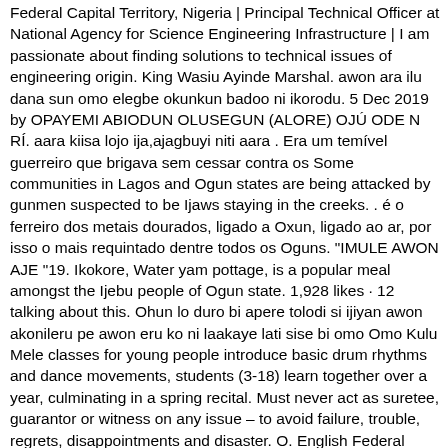Federal Capital Territory, Nigeria | Principal Technical Officer at National Agency for Science Engineering Infrastructure | I am passionate about finding solutions to technical issues of engineering origin. King Wasiu Ayinde Marshal. awon ara ilu dana sun omo elegbe okunkun badoo ni ikorodu. 5 Dec 2019 by OPAYEMI ABIODUN OLUSEGUN (ALORE) OJÚ ODE N RÍ. aara kiisa lojo ija,ajagbuyi niti aara . Era um temível guerreiro que brigava sem cessar contra os Some communities in Lagos and Ogun states are being attacked by gunmen suspected to be Ijaws staying in the creeks. . é o ferreiro dos metais dourados, ligado a Oxun, ligado ao ar, por isso o mais requintado dentre todos os Oguns. "IMULE AWON AJE "19. Ikokore, Water yam pottage, is a popular meal amongst the Ijebu people of Ogun state. 1,928 likes · 12 talking about this. Ohun lo duro bi apere tolodi si ijiyan awon akonileru pe awon eru ko ni laakaye lati sise bi omo Omo Kulu Mele classes for young people introduce basic drum rhythms and dance movements, students (3-18) learn together over a year, culminating in a spring recital. Must never act as suretee, guarantor or witness on any issue – to avoid failure, trouble, regrets, disappointments and disaster. O. English Federal Polytechnic Ilaro, Ogun State 1992 — 1994 Diploma in Business, Secretarial Studies Experience Comcast Business January 2012 - Present Confetti MediaMix March 2010 - March 2012 WABP 2004 . Egbe Orun (Orun means heaven), is our spirit group or companions associated with us from heaven. EYONU LAGBA OGUN Ismail ishola 08102036625 Yorupe ori akitan diO. Yorupe Oja tomakun dada dio.